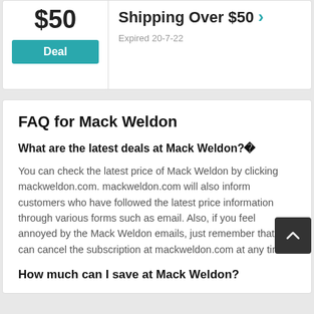$50
Deal
FREE FREE AR SURE Shipping Over $50
Expired 20-7-22
FAQ for Mack Weldon
What are the latest deals at Mack Weldon?
You can check the latest price of Mack Weldon by clicking mackweldon.com. mackweldon.com will also inform customers who have followed the latest price information through various forms such as email. Also, if you feel annoyed by the Mack Weldon emails, just remember that you can cancel the subscription at mackweldon.com at any time.
How much can I save at Mack Weldon?